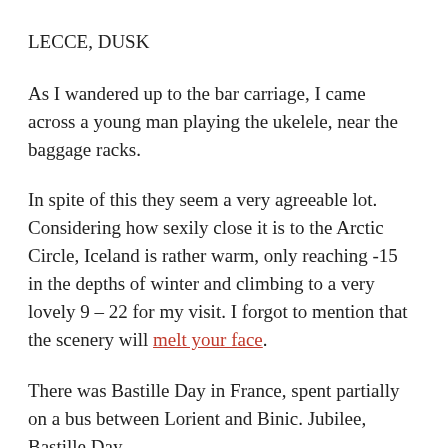LECCE, DUSK
As I wandered up to the bar carriage, I came across a young man playing the ukelele, near the baggage racks.
In spite of this they seem a very agreeable lot. Considering how sexily close it is to the Arctic Circle, Iceland is rather warm, only reaching -15 in the depths of winter and climbing to a very lovely 9 – 22 for my visit. I forgot to mention that the scenery will melt your face.
There was Bastille Day in France, spent partially on a bus between Lorient and Binic. Jubilee, Bastille Day, 4th July, Embassies, Elections...